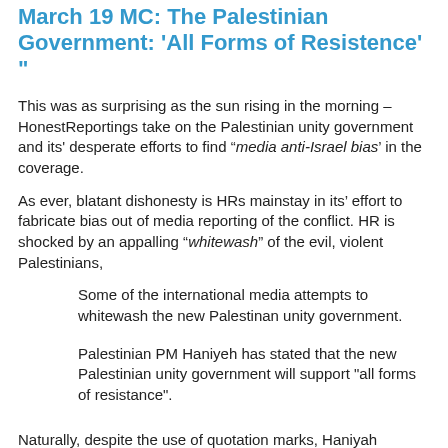March 19 MC: The Palestinian Government: 'All Forms of Resistence' "
This was as surprising as the sun rising in the morning – HonestReportings take on the Palestinian unity government and its' desperate efforts to find “media anti-Israel bias’ in the coverage.
As ever, blatant dishonesty is HRs mainstay in its’ effort to fabricate bias out of media reporting of the conflict. HR is shocked by an appalling “whitewash” of the evil, violent Palestinians,
Some of the international media attempts to whitewash the new Palestinan unity government.
Palestinian PM Haniyeh has stated that the new Palestinian unity government will support "all forms of resistance".
Naturally, despite the use of quotation marks, Haniyah